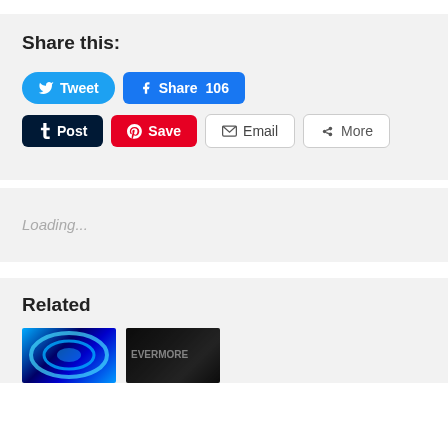Share this:
Tweet | Share 106 | Post | Save | Email | More
Loading...
Related